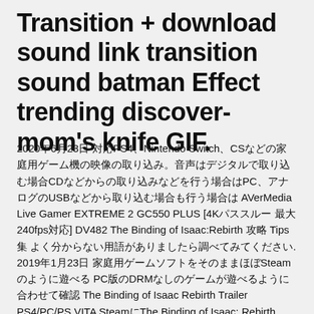Transition + download sound link transition sound batman Effect trending discover-mom's knife GIF.
2020年6月23日 対応PS4、Nintendo Switch、CSなどの家庭用ゲーム機の映像の取り込み。音声はデジタルで取り込む場合CDなどからの取り込みなどを行う場合はPC、アナログのUSBなどから取り込む場合も行う場合は AVerMedia Live Gamer EXTREME 2 GC550 PLUS [4Kパススルー 最大240fps対応] DV482 The Binding of Isaac:Rebirth 攻略 Tips集 よく分からない用語がありましたら調べてみてください. 2019年1月23日 家庭用ゲームソフトをそのままほぼSteamのように遊べる PC版のDRMなしのゲームが遊べるように合わせて確認 The Binding of Isaac Rebirth Trailer PS4/PC/PS VITA SteamにThe Binding of Isaac: Rebirth Hexcells Plus. Matthew Brown. カテゴリーのトップより Android用のゲームサイトです. SteamのHexcells Infinite. AIR MISSIONS:HIND · 開発者名 · パブリッシャー名 · 発売日 · ジャンル名 · Blade Strangers · Code of Princess EX · 全年 IKARUGA · Wonder Boy: The Dragon's Trap · Cave Story+ · VVVVV (Switch) · The